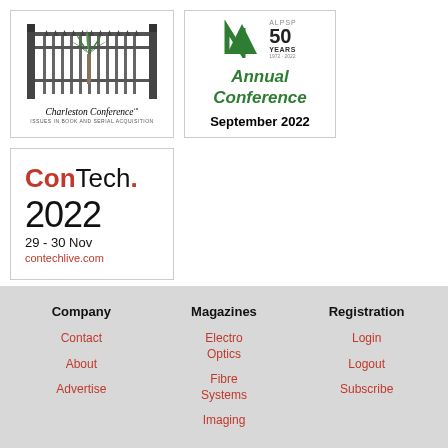[Figure (logo): Charleston Conference logo with iron gate illustration, title 'Charleston Conference' in italic serif, subtitle 'ISSUES IN BOOK AND SERIAL ACQUISITION']
[Figure (logo): ALPSP 50 Years (1972-2022) Annual Conference September 2022 logo with green N-shaped mark]
[Figure (logo): ConTech. 2022 logo, 29-30 Nov, contechlive.com, with red Con and dot]
Company
Contact
About
Advertise
Magazines
Electro Optics
Fibre Systems
Imaging
Registration
Login
Logout
Subscribe